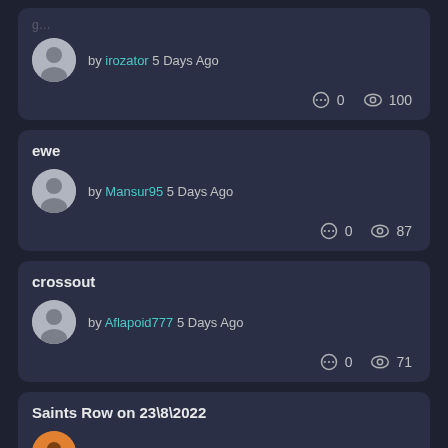by irozator 5 Days Ago — 0 comments, 100 views
ewe — by Mansur95 5 Days Ago — 0 comments, 87 views
crossout — by Aflapoid777 5 Days Ago — 0 comments, 71 views
Saints Row on 23\8\2022